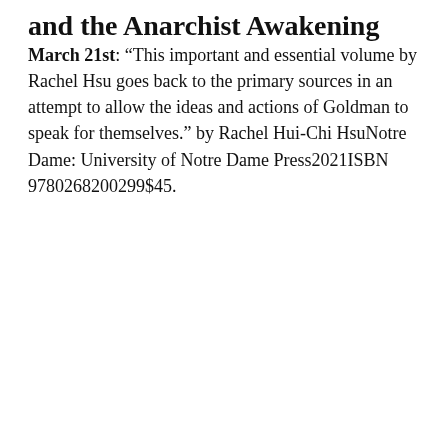and the Anarchist Awakening
March 21st: “This important and essential volume by Rachel Hsu goes back to the primary sources in an attempt to allow the ideas and actions of Goldman to speak for themselves.” by Rachel Hui-Chi HsuNotre Dame: University of Notre Dame Press2021ISBN 9780268200299$45.